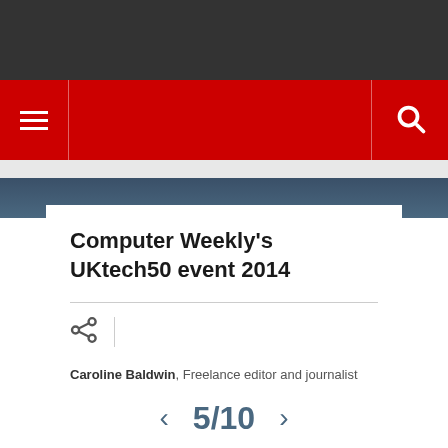Computer Weekly's UKtech50 event 2014
Caroline Baldwin, Freelance editor and journalist
Published: 04 December 2014 9:51
5/10